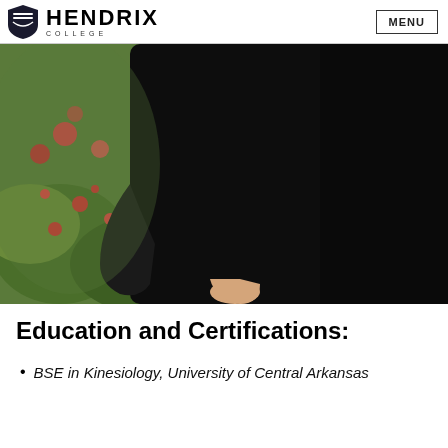HENDRIX COLLEGE | MENU
[Figure (photo): Person wearing black long-sleeve shirt with hands behind back, standing in front of blurred foliage with red flowers]
Education and Certifications:
BSE in Kinesiology, University of Central Arkansas